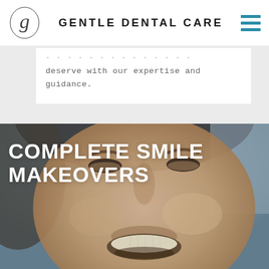GENTLE DENTAL CARE
deserve with our expertise and guidance.
[Figure (photo): Close-up photo of a smiling man showing white teeth, used as hero background image for a dental care website section titled 'COMPLETE SMILE MAKEOVERS']
COMPLETE SMILE MAKEOVERS